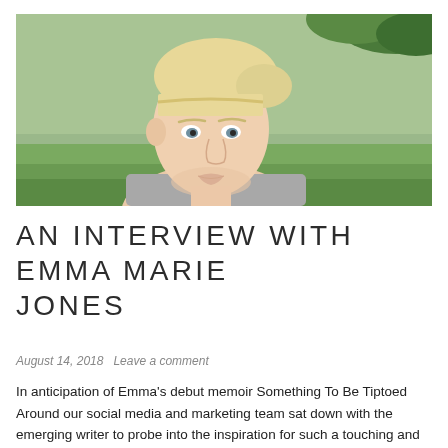[Figure (photo): Portrait photo of a young blonde woman with blunt bangs and hair pulled up, photographed outdoors against a green leafy background]
AN INTERVIEW WITH EMMA MARIE JONES
August 14, 2018   Leave a comment
In anticipation of Emma's debut memoir Something To Be Tiptoed Around our social media and marketing team sat down with the emerging writer to probe into the inspiration for such a touching and artful...